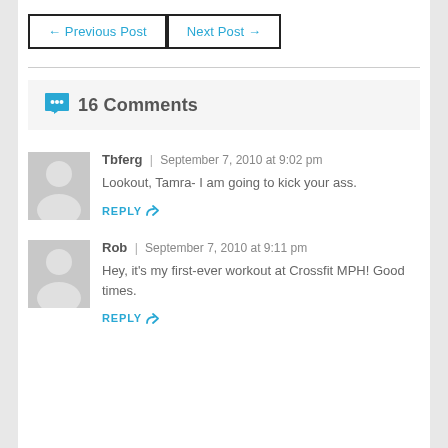← Previous Post
Next Post →
16 Comments
Tbferg | September 7, 2010 at 9:02 pm
Lookout, Tamra- I am going to kick your ass.
REPLY
Rob | September 7, 2010 at 9:11 pm
Hey, it's my first-ever workout at Crossfit MPH! Good times.
REPLY